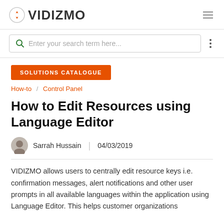VIDIZMO
Enter your search term here...
SOLUTIONS CATALOGUE
How-to / Control Panel
How to Edit Resources using Language Editor
Sarrah Hussain  04/03/2019
VIDIZMO allows users to centrally edit resource keys i.e. confirmation messages, alert notifications and other user prompts in all available languages within the application using Language Editor. This helps customer organizations